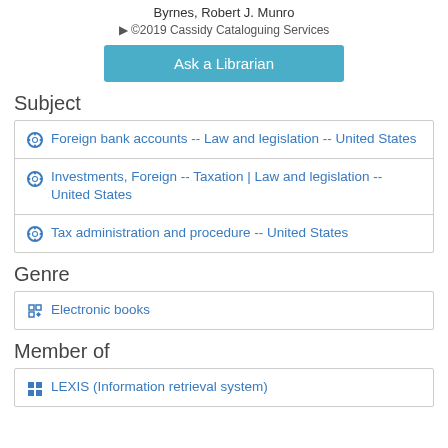Byrnes, Robert J. Munro
©2019 Cassidy Cataloguing Services
Ask a Librarian
Subject
Foreign bank accounts -- Law and legislation -- United States
Investments, Foreign -- Taxation | Law and legislation -- United States
Tax administration and procedure -- United States
Genre
Electronic books
Member of
LEXIS (Information retrieval system)